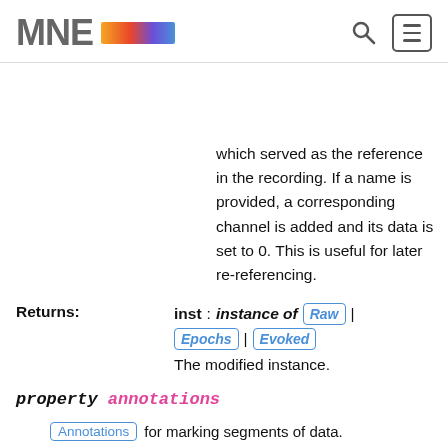MNE
which served as the reference in the recording. If a name is provided, a corresponding channel is added and its data is set to 0. This is useful for later re-referencing.
Returns: inst : instance of Raw | Epochs | Evoked
The modified instance.
property annotations
Annotations for marking segments of data.